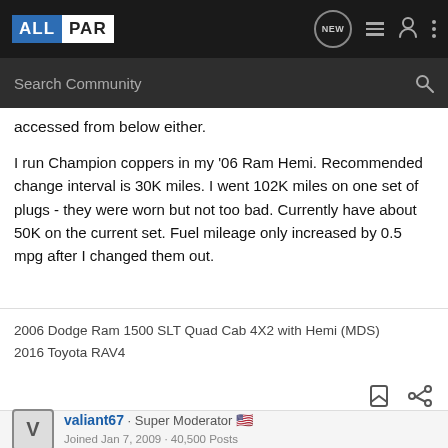ALLPAR — navigation bar with Search Community input
accessed from below either.
I run Champion coppers in my '06 Ram Hemi. Recommended change interval is 30K miles. I went 102K miles on one set of plugs - they were worn but not too bad. Currently have about 50K on the current set. Fuel mileage only increased by 0.5 mpg after I changed them out.
2006 Dodge Ram 1500 SLT Quad Cab 4X2 with Hemi (MDS)
2016 Toyota RAV4
valiant67 · Super Moderator 🇺🇸